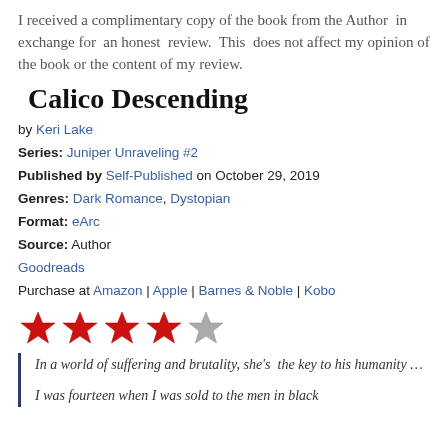I received a complimentary copy of the book from the Author in exchange for an honest review. This does not affect my opinion of the book or the content of my review.
Calico Descending
by Keri Lake
Series: Juniper Unraveling #2
Published by Self-Published on October 29, 2019
Genres: Dark Romance, Dystopian
Format: eArc
Source: Author
Goodreads
Purchase at Amazon | Apple | Barnes & Noble | Kobo
[Figure (other): Five red/grey star rating showing 4 out of 5 stars]
In a world of suffering and brutality, she's the key to his humanity…

I was fourteen when I was sold to the men in black